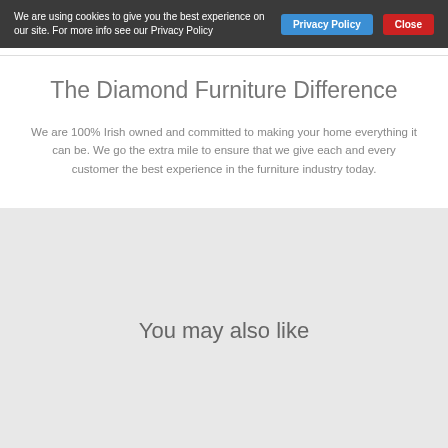We are using cookies to give you the best experience on our site. For more info see our Privacy Policy
The Diamond Furniture Difference
We are 100% Irish owned and committed to making your home everything it can be. We go the extra mile to ensure that we give each and every customer the best experience in the furniture industry today.
You may also like